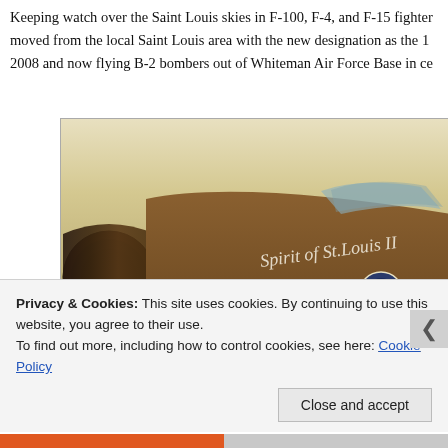Keeping watch over the Saint Louis skies in F-100, F-4, and F-15 fighters, moved from the local Saint Louis area with the new designation as the 11... 2008 and now flying B-2 bombers out of Whiteman Air Force Base in cen...
[Figure (photo): Vintage photograph of a military fighter jet on the ground, with 'Spirit of St. Louis II' written in script on the fuselage. The aircraft number 742 is visible on the landing gear area. The jet has a large circular air intake at the front and a cockpit canopy visible toward the rear.]
Privacy & Cookies: This site uses cookies. By continuing to use this website, you agree to their use.
To find out more, including how to control cookies, see here: Cookie Policy
Close and accept